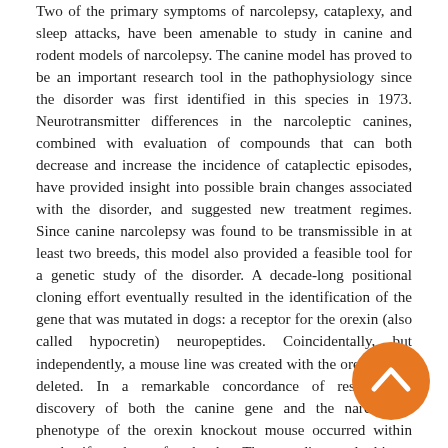Two of the primary symptoms of narcolepsy, cataplexy, and sleep attacks, have been amenable to study in canine and rodent models of narcolepsy. The canine model has proved to be an important research tool in the pathophysiology since the disorder was first identified in this species in 1973. Neurotransmitter differences in the narcoleptic canines, combined with evaluation of compounds that can both decrease and increase the incidence of cataplectic episodes, have provided insight into possible brain changes associated with the disorder, and suggested new treatment regimes. Since canine narcolepsy was found to be transmissible in at least two breeds, this model also provided a feasible tool for a genetic study of the disorder. A decade-long positional cloning effort eventually resulted in the identification of the gene that was mutated in dogs: a receptor for the orexin (also called hypocretin) neuropeptides. Coincidentally, but independently, a mouse line was created with the orexin gene deleted. In a remarkable concordance of results, the discovery of both the canine gene and the narcoleptic phenotype of the orexin knockout mouse occurred within weeks, if not days, of each other. These studies resulted in an unequivocal linkage between the pathophysiology in the orexin system and the narcolepsy symptoms. Studies on these models are continued to understand how orexin might normally prevent
[Figure (other): Orange circular button with upward chevron arrow icon, positioned at bottom right of the page.]